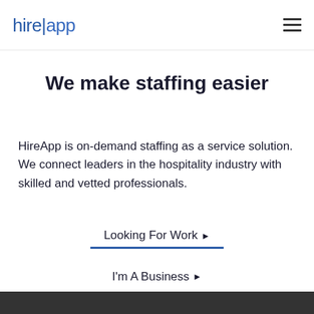hire|app
We make staffing easier
HireApp is on-demand staffing as a service solution. We connect leaders in the hospitality industry with skilled and vetted professionals.
Looking For Work ▶
I'm A Business ▶